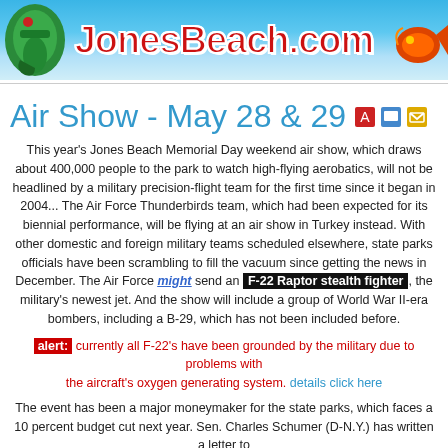[Figure (illustration): JonesBeach.com website header banner with seahorse on left, tropical fish on right, and red bold text 'JonesBeach.com' on blue water background]
Air Show - May 28 & 29
This year's Jones Beach Memorial Day weekend air show, which draws about 400,000 people to the park to watch high-flying aerobatics, will not be headlined by a military precision-flight team for the first time since it began in 2004... The Air Force Thunderbirds team, which had been expected for its biennial performance, will be flying at an air show in Turkey instead. With other domestic and foreign military teams scheduled elsewhere, state parks officials have been scrambling to fill the vacuum since getting the news in December. The Air Force might send an F-22 Raptor stealth fighter, the military's newest jet. And the show will include a group of World War II-era bombers, including a B-29, which has not been included before.
alert: currently all F-22's have been grounded by the military due to problems with the aircraft's oxygen generating system. details click here
The event has been a major moneymaker for the state parks, which faces a 10 percent budget cut next year. Sen. Charles Schumer (D-N.Y.) has written a letter to